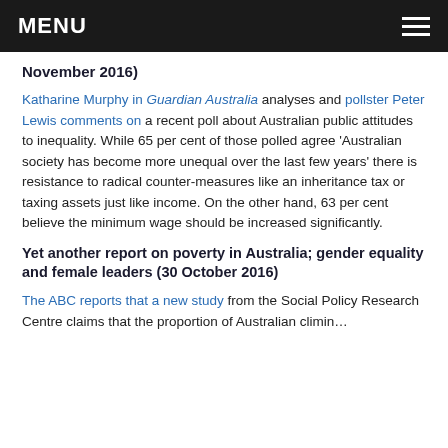MENU
November 2016)
Katharine Murphy in Guardian Australia analyses and pollster Peter Lewis comments on a recent poll about Australian public attitudes to inequality. While 65 per cent of those polled agree 'Australian society has become more unequal over the last few years' there is resistance to radical counter-measures like an inheritance tax or taxing assets just like income. On the other hand, 63 per cent believe the minimum wage should be increased significantly.
Yet another report on poverty in Australia; gender equality and female leaders (30 October 2016)
The ABC reports that a new study from the Social Policy Research Centre claims that the proportion of Australian citizens...